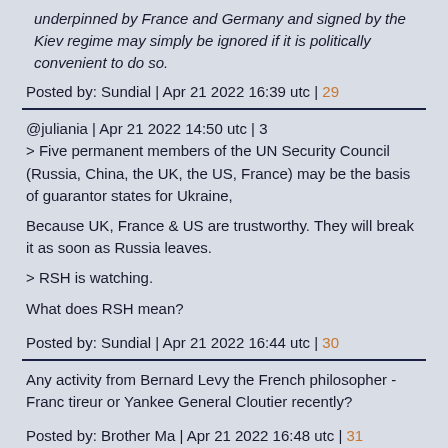underpinned by France and Germany and signed by the Kiev regime may simply be ignored if it is politically convenient to do so.
Posted by: Sundial | Apr 21 2022 16:39 utc | 29
@juliania | Apr 21 2022 14:50 utc | 3
> Five permanent members of the UN Security Council (Russia, China, the UK, the US, France) may be the basis of guarantor states for Ukraine,

Because UK, France & US are trustworthy. They will break it as soon as Russia leaves.

> RSH is watching.

What does RSH mean?
Posted by: Sundial | Apr 21 2022 16:44 utc | 30
Any activity from Bernard Levy the French philosopher - Franc tireur or Yankee General Cloutier recently?
Posted by: Brother Ma | Apr 21 2022 16:48 utc | 31